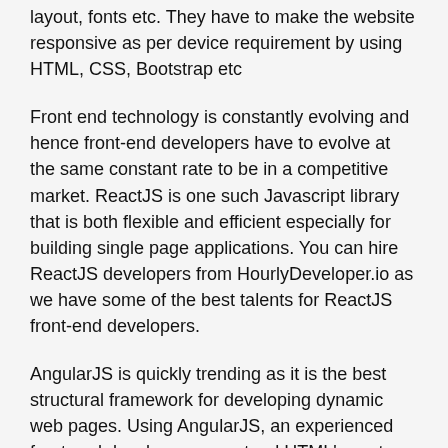layout, fonts etc. They have to make the website responsive as per device requirement by using HTML, CSS, Bootstrap etc
Front end technology is constantly evolving and hence front-end developers have to evolve at the same constant rate to be in a competitive market. ReactJS is one such Javascript library that is both flexible and efficient especially for building single page applications. You can hire ReactJS developers from HourlyDeveloper.io as we have some of the best talents for ReactJS front-end developers.
AngularJS is quickly trending as it is the best structural framework for developing dynamic web pages. Using AngularJS, an experienced front-end developer can extend HTML's syntax and express applications component succinctly. HourlyDevelopers.io also provides an option to hire an AngularJS developer for your business requirement.
There are many new technologies and frameworks in the market for frontend development. AngularJS, ReactJS, Vue.js, Iconic 2, Grunt etc and the list goes on and on. Our frontend developer uses such tools at their disposal to develop the best user interface that can attract anyone who comes across the product.